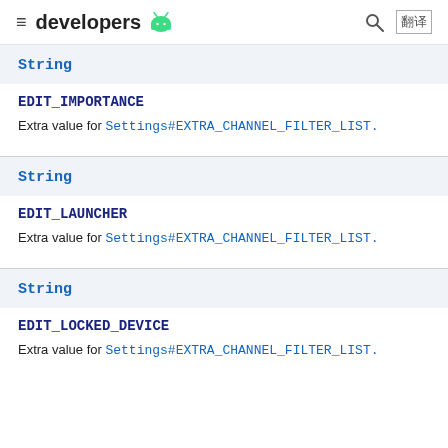developers
String
EDIT_IMPORTANCE
Extra value for Settings#EXTRA_CHANNEL_FILTER_LIST.
String
EDIT_LAUNCHER
Extra value for Settings#EXTRA_CHANNEL_FILTER_LIST.
String
EDIT_LOCKED_DEVICE
Extra value for Settings#EXTRA_CHANNEL_FILTER_LIST.